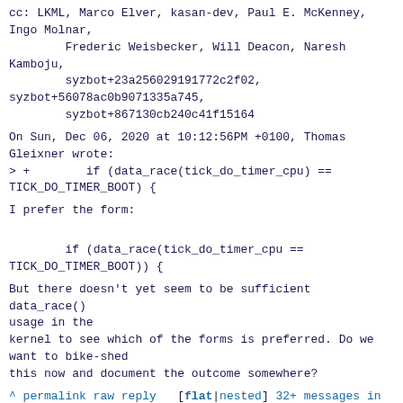Cc: LKML, Marco Elver, kasan-dev, Paul E. McKenney, Ingo Molnar,
        Frederic Weisbecker, Will Deacon, Naresh Kamboju,
        syzbot+23a256029191772c2f02,
syzbot+56078ac0b9071335a745,
        syzbot+867130cb240c41f15164
On Sun, Dec 06, 2020 at 10:12:56PM +0100, Thomas Gleixner wrote:
> +        if (data_race(tick_do_timer_cpu) == TICK_DO_TIMER_BOOT) {
I prefer the form:
if (data_race(tick_do_timer_cpu ==
TICK_DO_TIMER_BOOT)) {
But there doesn't yet seem to be sufficient data_race() usage in the
kernel to see which of the forms is preferred. Do we want to bike-shed
this now and document the outcome somewhere?
^ permalink raw reply   [flat|nested] 32+ messages in thread
* Re: [patch 1/3] tick: Remove pointless cpu valid check in hotplug code
  2020-12-07 11:59   · Peter Ziijlstra